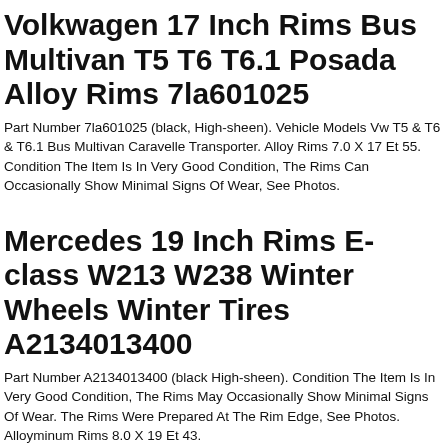Volkwagen 17 Inch Rims Bus Multivan T5 T6 T6.1 Posada Alloy Rims 7la601025
Part Number 7la601025 (black, High-sheen). Vehicle Models Vw T5 & T6 & T6.1 Bus Multivan Caravelle Transporter. Alloy Rims 7.0 X 17 Et 55. Condition The Item Is In Very Good Condition, The Rims Can Occasionally Show Minimal Signs Of Wear, See Photos.
Mercedes 19 Inch Rims E-class W213 W238 Winter Wheels Winter Tires A2134013400
Part Number A2134013400 (black High-sheen). Condition The Item Is In Very Good Condition, The Rims May Occasionally Show Minimal Signs Of Wear. The Rims Were Prepared At The Rim Edge, See Photos. Alloyminum Rims 8.0 X 19 Et 43.